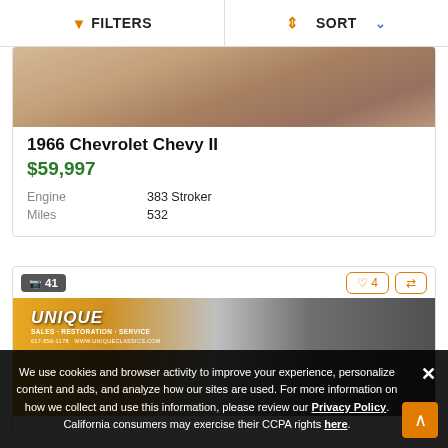FILTERS   SORT
[Figure (photo): Partial view of a 1966 Chevrolet Chevy II car listing image, brownish tone]
1966 Chevrolet Chevy II
$59,997
| Engine | 383 Stroker |
| Miles | 532 |
[Figure (photo): Photo of a classic car in front of Unique Motors dealership with orange/yellow signage]
We use cookies and browser activity to improve your experience, personalize content and ads, and analyze how our sites are used. For more information on how we collect and use this information, please review our Privacy Policy. California consumers may exercise their CCPA rights here.